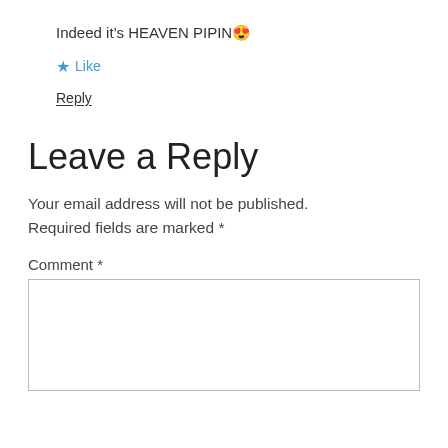Indeed it's HEAVEN PIPIN😍
★ Like
Reply
Leave a Reply
Your email address will not be published. Required fields are marked *
Comment *